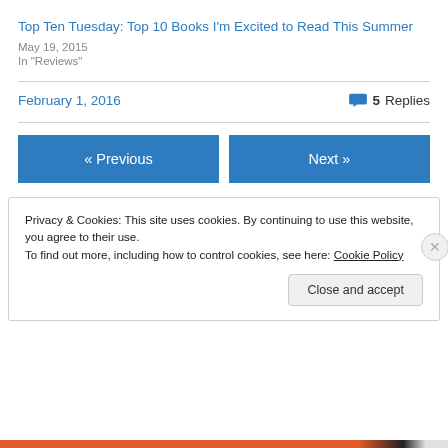Top Ten Tuesday: Top 10 Books I'm Excited to Read This Summer
May 19, 2015
In "Reviews"
February 1, 2016  5 Replies
« Previous
Next »
Privacy & Cookies: This site uses cookies. By continuing to use this website, you agree to their use.
To find out more, including how to control cookies, see here: Cookie Policy
Close and accept